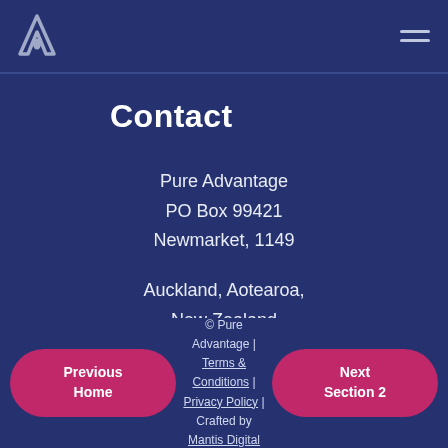Pure Advantage logo and hamburger menu
Contact
Pure Advantage
PO Box 99421
Newmarket, 1149

Auckland, Aotearoa,
New Zealand
Previous Home | © Pure Advantage | Terms & Conditions | Privacy Policy | Crafted by Mantis Digital | Next Section 2